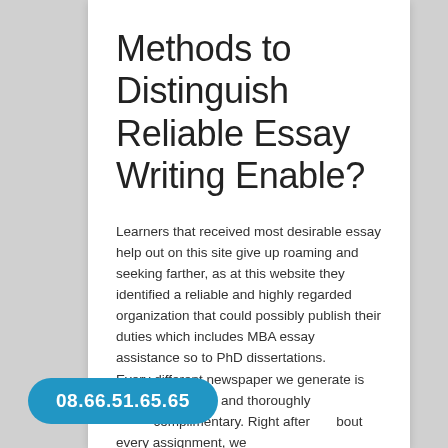Methods to Distinguish Reliable Essay Writing Enable?
Learners that received most desirable essay help out on this site give up roaming and seeking farther, as at this website they identified a reliable and highly regarded organization that could possibly publish their duties which includes MBA essay assistance so to PhD dissertations.
Every different newspaper we generate is unique, essential and thoroughly complimentary. Right after about every assignment, we